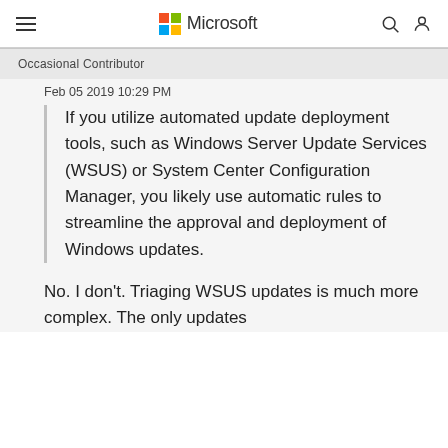Microsoft
Occasional Contributor
Feb 05 2019 10:29 PM
If you utilize automated update deployment tools, such as Windows Server Update Services (WSUS) or System Center Configuration Manager, you likely use automatic rules to streamline the approval and deployment of Windows updates.
No. I don't. Triaging WSUS updates is much more complex. The only updates